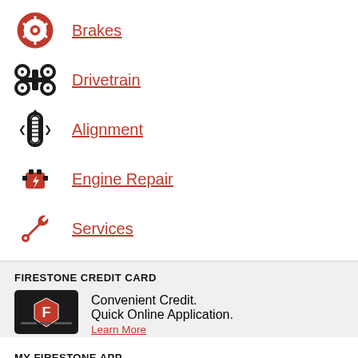Brakes
Drivetrain
Alignment
Engine Repair
Services
FIRESTONE CREDIT CARD
Convenient Credit. Quick Online Application. Learn More
MY FIRESTONE APP
The one tool every driver needs. Available on iPhone.